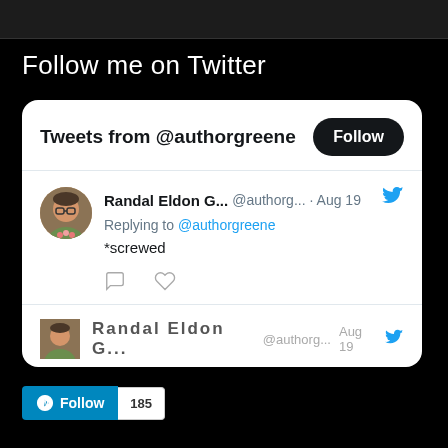Follow me on Twitter
[Figure (screenshot): Twitter widget showing 'Tweets from @authorgreene' with a Follow button. A tweet by Randal Eldon G... (@authorg... · Aug 19) says 'Replying to @authorgreene' and '*screwed', with comment and like icons. A partial second tweet is visible at the bottom.]
[Figure (other): WordPress Follow button showing blue WP logo with 'Follow' text and a count badge showing '185']